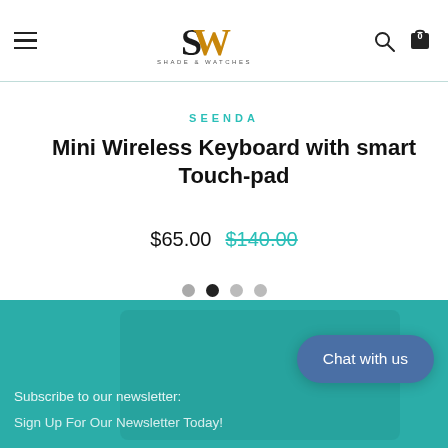Shade & Watches — navigation header with hamburger menu, logo, search and cart icons
SEENDA
Mini Wireless Keyboard with smart Touch-pad
$65.00  $140.00
[Figure (other): Carousel navigation dots — 4 dots, second dot is active/dark]
Subscribe to our newsletter:
Sign Up For Our Newsletter Today!
Chat with us